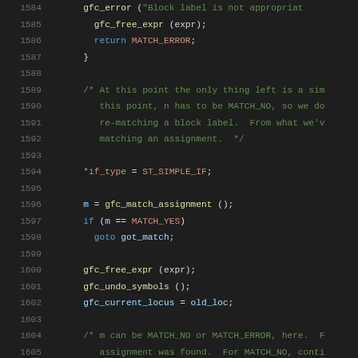Source code listing, lines 1584-1605, C programming language with syntax highlighting